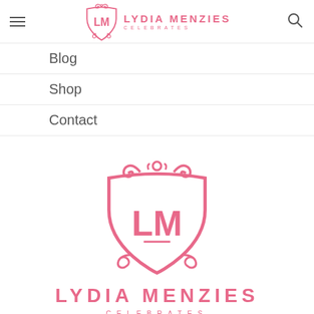Lydia Menzies Celebrates — site header with hamburger menu, logo, and search icon
Blog
Shop
Contact
[Figure (logo): Lydia Menzies Celebrates ornate shield logo with LM monogram in pink, large centered version with brand name and tagline CELEBRATES below]